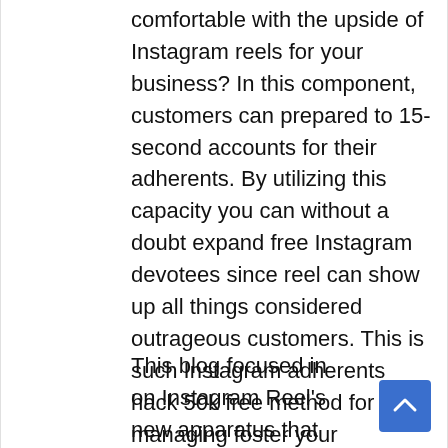comfortable with the upside of Instagram reels for your business? In this component, customers can prepared to 15-second accounts for their adherents. By utilizing this capacity you can without a doubt expand free Instagram devotees since reel can show up all things considered outrageous customers. This is such Instagram adherents hack 50k free method for managing foster your business. To know how to get 1k supporters on Instagram quickly you need to examine this article. Continue to peruse to discover extra.
This blog focused in on Instagram Reel's new apparatus that licenses customers to make